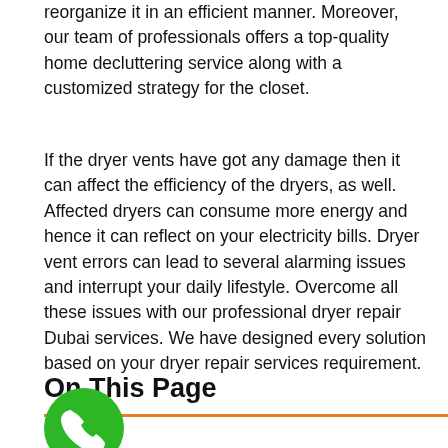reorganize it in an efficient manner. Moreover, our team of professionals offers a top-quality home decluttering service along with a customized strategy for the closet.
If the dryer vents have got any damage then it can affect the efficiency of the dryers, as well. Affected dryers can consume more energy and hence it can reflect on your electricity bills. Dryer vent errors can lead to several alarming issues and interrupt your daily lifestyle. Overcome all these issues with our professional dryer repair Dubai services. We have designed every solution based on your dryer repair services requirement.
On This Page